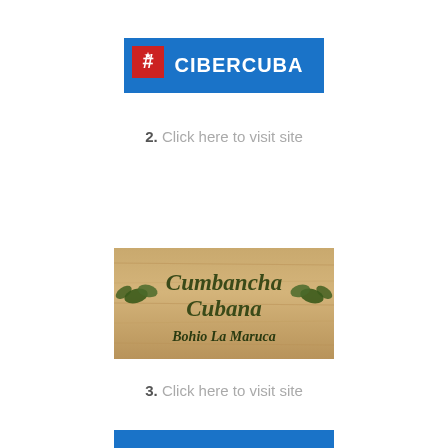[Figure (logo): CiberCuba logo - blue rectangle with hash symbol and text CIBERCUBA in white]
2. Click here to visit site
[Figure (photo): Wooden sign reading 'Cumbancha Cubana Bohio La Maruca' with leaf decorations in dark green script on tan wood background]
3. Click here to visit site
[Figure (logo): Partial logo visible at bottom edge of page]